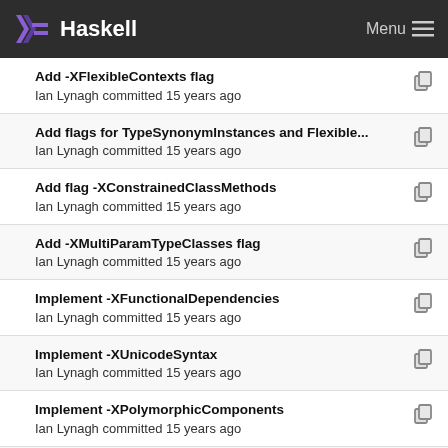Haskell  Menu
Add -XFlexibleContexts flag
Ian Lynagh committed 15 years ago
Add flags for TypeSynonymInstances and Flexible...
Ian Lynagh committed 15 years ago
Add flag -XConstrainedClassMethods
Ian Lynagh committed 15 years ago
Add -XMultiParamTypeClasses flag
Ian Lynagh committed 15 years ago
Implement -XFunctionalDependencies
Ian Lynagh committed 15 years ago
Implement -XUnicodeSyntax
Ian Lynagh committed 15 years ago
Implement -XPolymorphicComponents
Ian Lynagh committed 15 years ago
Add -XExistentialQuantification flag
Ian Lynagh committed 15 years ago